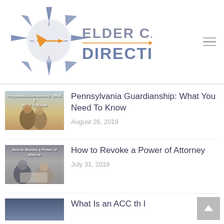[Figure (logo): Elder Care Direction logo with compass icon and text]
[Figure (photo): Pennsylvania Guardianship article thumbnail showing two elderly people from behind]
Pennsylvania Guardianship: What You Need To Know
August 26, 2019
[Figure (photo): How to Revoke a Power of Attorney article thumbnail showing man and woman looking at documents]
How to Revoke a Power of Attorney
July 31, 2019